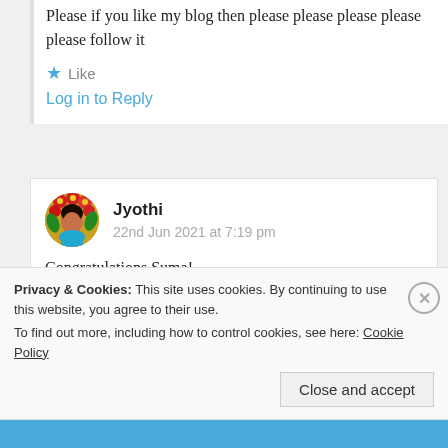Please if you like my blog then please please please please please follow it
★ Like
Log in to Reply
Jyothi
22nd Jun 2021 at 7:19 pm
Congratulations Suma!
Privacy & Cookies: This site uses cookies. By continuing to use this website, you agree to their use.
To find out more, including how to control cookies, see here: Cookie Policy
Close and accept